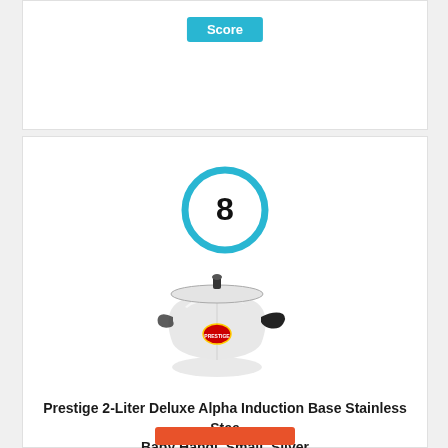Score
[Figure (other): Score circle badge showing the number 8, with a thick light blue ring]
[Figure (photo): Photo of a Prestige 2-Liter Deluxe Alpha Induction Base Stainless Steel Baby Handi, Small, Silver pressure cooker]
Prestige 2-Liter Deluxe Alpha Induction Base Stainless Steel Baby Handi, Small, Silver
By Prestige